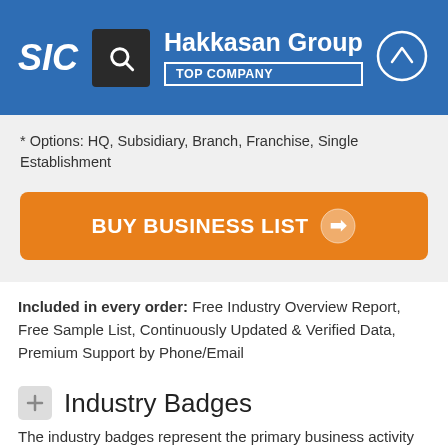SIC | Hakkasan Group | TOP COMPANY
* Options: HQ, Subsidiary, Branch, Franchise, Single Establishment
BUY BUSINESS LIST
Included in every order: Free Industry Overview Report, Free Sample List, Continuously Updated & Verified Data, Premium Support by Phone/Email
Industry Badges
The industry badges represent the primary business activity of Hakkasan Group at this specific location.